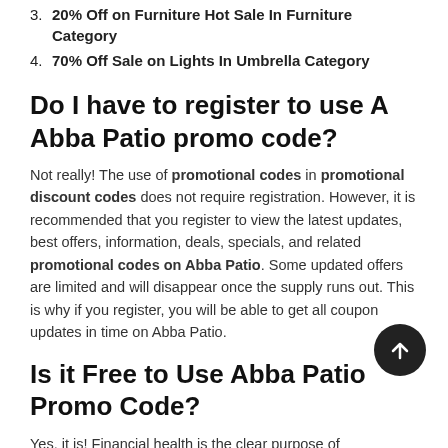3. 20% Off on Furniture Hot Sale In Furniture Category
4. 70% Off Sale on Lights In Umbrella Category
Do I have to register to use A Abba Patio promo code?
Not really! The use of promotional codes in promotional discount codes does not require registration. However, it is recommended that you register to view the latest updates, best offers, information, deals, specials, and related promotional codes on Abba Patio. Some updated offers are limited and will disappear once the supply runs out. This is why if you register, you will be able to get all coupon updates in time on Abba Patio.
Is it Free to Use Abba Patio Promo Code?
Yes, it is! Financial health is the clear purpose of promotional discount codes, and great attention has been paid to this. Therefore, it does not make sense to